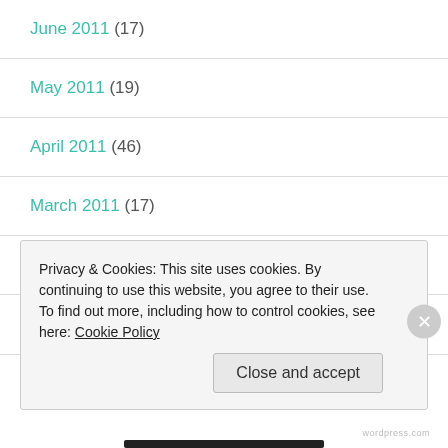June 2011 (17)
May 2011 (19)
April 2011 (46)
March 2011 (17)
February 2011 (23)
January 2011 (38)
Privacy & Cookies: This site uses cookies. By continuing to use this website, you agree to their use.
To find out more, including how to control cookies, see here: Cookie Policy
Close and accept